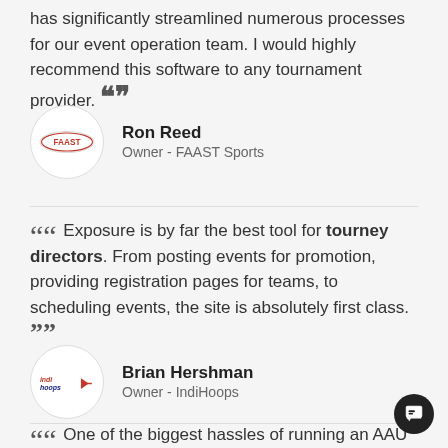has significantly streamlined numerous processes for our event operation team. I would highly recommend this software to any tournament provider. ””
Ron Reed
Owner - FAAST Sports
““ Exposure is by far the best tool for tourney directors. From posting events for promotion, providing registration pages for teams, to scheduling events, the site is absolutely first class. ””
Brian Hershman
Owner - IndiHoops
““ One of the biggest hassles of running an AAU basketball